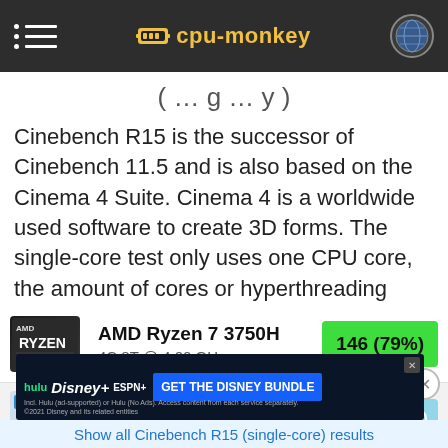cpu-monkey
(single-core)
Cinebench R15 is the successor of Cinebench 11.5 and is also based on the Cinema 4 Suite. Cinema 4 is a worldwide used software to create 3D forms. The single-core test only uses one CPU core, the amount of cores or hyperthreading ability doesn't count.
| CPU | Score |
| --- | --- |
| AMD Ryzen 7 3750H
4C 8T @ 4.00 GHz | 146 (79%) |
| Intel Core i7 8750H
6C 12T @ 4.10 GHz | 184 (100%) |
[Figure (infographic): Disney Bundle advertisement banner with Hulu, Disney+, ESPN+ logos and GET THE DISNEY BUNDLE CTA]
Show all Cinebench R15 (single-core) results